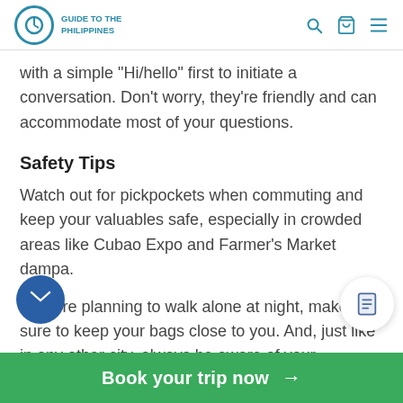Guide to the Philippines
with a simple "Hi/hello" first to initiate a conversation. Don't worry, they're friendly and can accommodate most of your questions.
Safety Tips
Watch out for pickpockets when commuting and keep your valuables safe, especially in crowded areas like Cubao Expo and Farmer's Market dampa.
If you're planning to walk alone at night, make sure to keep your bags close to you. And, just like in any other city, always be aware of your surroundings.
What to Pack
Book your trip now